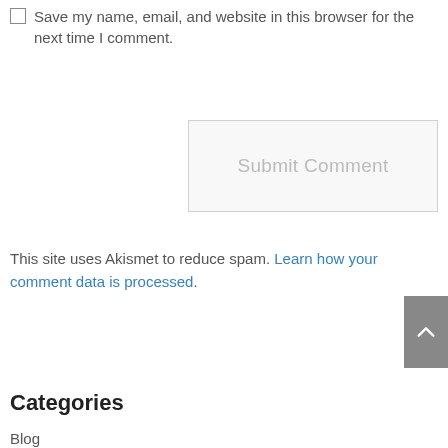Save my name, email, and website in this browser for the next time I comment.
Submit Comment
This site uses Akismet to reduce spam. Learn how your comment data is processed.
Categories
Blog